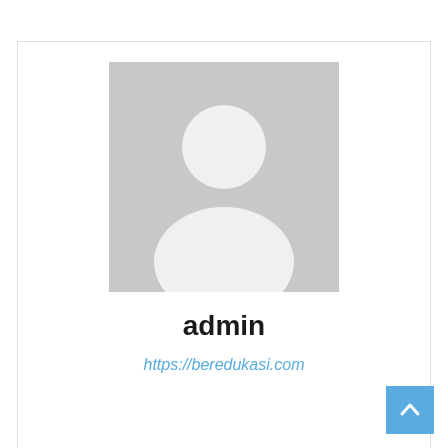[Figure (illustration): Default avatar silhouette — a gray square with a white generic person icon (head circle + body shape)]
admin
https://beredukasi.com